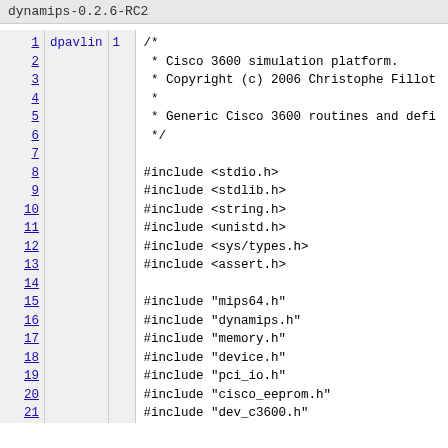dynamips-0.2.6-RC2
1  dpavlin  1  /*
2             * Cisco 3600 simulation platform.
3             * Copyright (c) 2006 Christophe Fillot
4             *
5             * Generic Cisco 3600 routines and defi
6             */
7
8             #include <stdio.h>
9             #include <stdlib.h>
10            #include <string.h>
11            #include <unistd.h>
12            #include <sys/types.h>
13            #include <assert.h>
14
15            #include "mips64.h"
16            #include "dynamips.h"
17            #include "memory.h"
18            #include "device.h"
19            #include "pci_io.h"
20            #include "cisco_eeprom.h"
21            #include "dev_c3600.h"